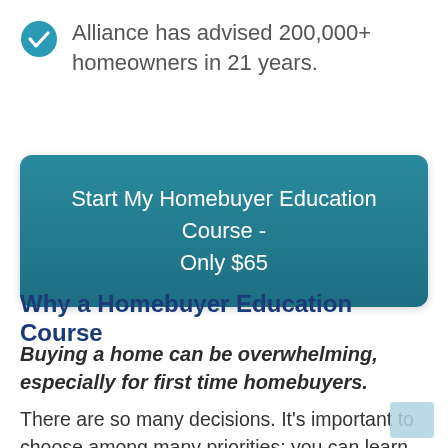Alliance has advised 200,000+ homeowners in 21 years.
[Figure (other): Teal call-to-action button reading: Start My Homebuyer Education Course - Only $65]
Why a Homebuyer Education Course
Buying a home can be overwhelming, especially for first time homebuyers.
There are so many decisions. It's important to choose among many priorities; you can learn